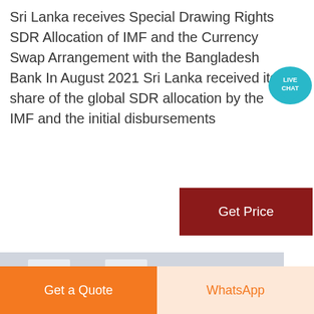Sri Lanka receives Special Drawing Rights SDR Allocation of IMF and the Currency Swap Arrangement with the Bangladesh Bank In August 2021 Sri Lanka received its share of the global SDR allocation by the IMF and the initial disbursements
[Figure (other): Live Chat speech bubble icon with teal background and white text reading LIVE CHAT]
[Figure (other): Dark red 'Get Price' button]
[Figure (photo): Industrial vertical mill machine inside a factory warehouse, showing a large dark grey cylindrical machine with orange/red flanged rings, structural steel framework and roof visible in background]
[Figure (other): Bottom action bar with two buttons: orange 'Get a Quote' on the left and light peach 'WhatsApp' with orange text on the right]